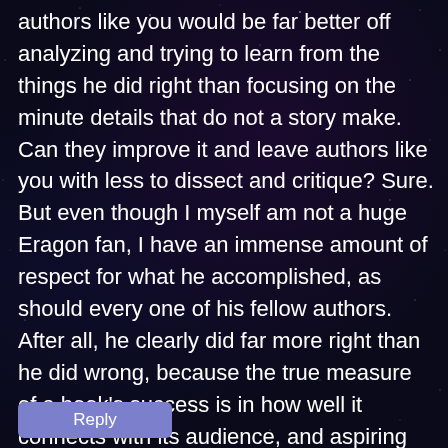authors like you would be far better off analyzing and trying to learn from the things he did right than focusing on the minute details that do not a story make. Can they improve it and leave authors like you with less to dissect and critique? Sure. But even though I myself am not a huge Eragon fan, I have an immense amount of respect for what he accomplished, as should every one of his fellow authors. After all, he clearly did far more right than he did wrong, because the true measure of a book’s success is in how well it connects with its audience, and aspiring authors like yourself would do well to remember that in the end, that is the only true measure of success.
Reply